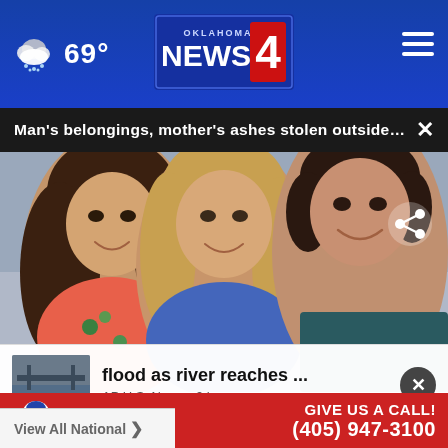Oklahoma's News 4 | 69°
Man's belongings, mother's ashes stolen outside K... ×
[Figure (photo): Three people smiling in a selfie photo — a young woman on the left with dark hair, an older blonde woman in the center, and a young man on the right wearing a dark t-shirt.]
flood as river reaches ...
AP U.S. News • 9 hours ago
[Figure (logo): Mr. Rooter Plumbing advertisement banner — red background with Mr. Rooter mascot logo, text: GIVE US A CALL! (405) 947-3100]
View All National ›